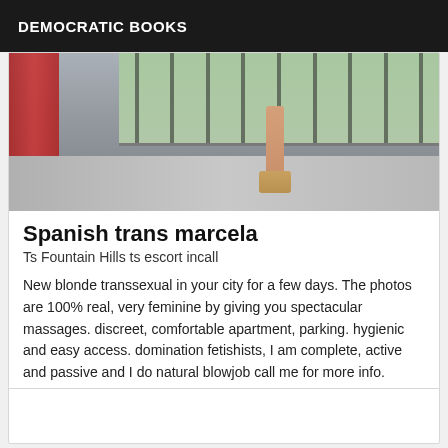DEMOCRATIC BOOKS
[Figure (photo): Photo showing legs/feet in heels near a window with metal bars, red curtain on left side, tiled floor]
Spanish trans marcela
Ts Fountain Hills ts escort incall
New blonde transsexual in your city for a few days. The photos are 100% real, very feminine by giving you spectacular massages. discreet, comfortable apartment, parking. hygienic and easy access. domination fetishists, I am complete, active and passive and I do natural blowjob call me for more info.